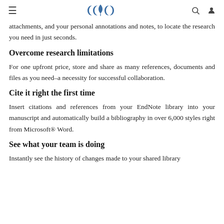≡  [logo]  🔍  👤
attachments, and your personal annotations and notes, to locate the research you need in just seconds.
Overcome research limitations
For one upfront price, store and share as many references, documents and files as you need–a necessity for successful collaboration.
Cite it right the first time
Insert citations and references from your EndNote library into your manuscript and automatically build a bibliography in over 6,000 styles right from Microsoft® Word.
See what your team is doing
Instantly see the history of changes made to your shared library